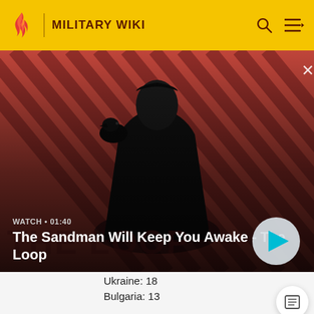MILITARY WIKI
[Figure (screenshot): Video banner showing 'The Sandman Will Keep You Awake - The Loop' with a dark-clad figure and a raven on a red striped background. Overlay shows WATCH • 01:40 label and play button.]
Ukraine: 18
Bulgaria: 13
Spain: 11
Denmark: 7
El Salvador: 5